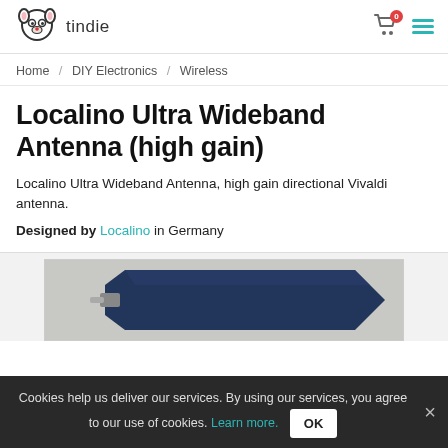tindie
Home / DIY Electronics / Wireless
Localino Ultra Wideband Antenna (high gain)
Localino Ultra Wideband Antenna, high gain directional Vivaldi antenna.
Designed by Localino in Germany
[Figure (photo): Photo of a dark blue Localino Ultra Wideband Antenna PCB on a grey background]
Cookies help us deliver our services. By using our services, you agree to our use of cookies. Learn more. OK